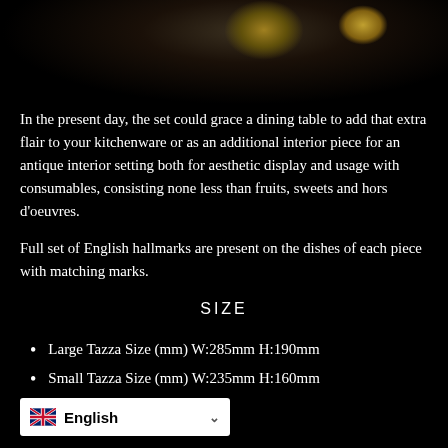[Figure (photo): Dark background photo of antique silverware/tazza set with gold highlights visible at top of image]
In the present day, the set could grace a dining table to add that extra flair to your kitchenware or as an additional interior piece for an antique interior setting both for aesthetic display and usage with consumables, consisting none less than fruits, sweets and hors d'oeuvres.

Full set of English hallmarks are present on the dishes of each piece with matching marks.
SIZE
Large Tazza Size (mm) W:285mm H:190mm
Small Tazza Size (mm) W:235mm H:160mm